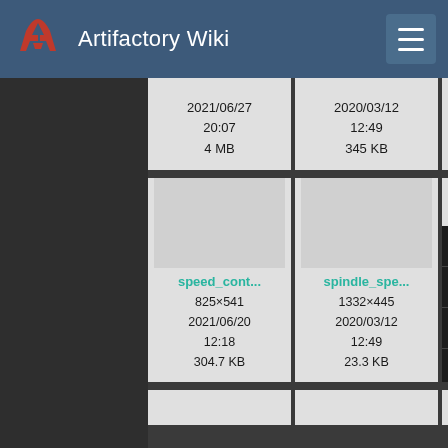Artifactory Wiki
2021/06/27 20:07 4 MB
2020/03/12 12:49 345 KB
2020/... 1... 357...
speed_cont...
825×541
2021/06/20 12:18
304.7 KB
spindle_spe...
1332×445
2020/03/12 12:49
23.3 KB
2020/... 1... 12:...